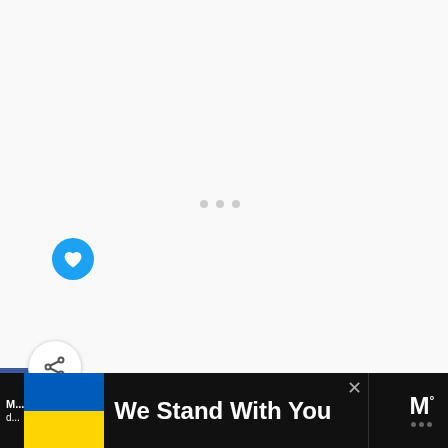[Figure (screenshot): Social media share sidebar with Facebook (blue), Twitter (blue), Pinterest (red) buttons, a floating heart/save button, and a circular share button]
WHAT'S NEXT → Popular Spanish Foo...
[Figure (photo): Thumbnail image of Spanish food, appearing round/cropped in the What's Next teaser]
[Figure (infographic): Bottom banner ad: Ukrainian flag colors (blue/yellow), text 'We Stand With You', close X button, and right side logo with M and dots]
We Stand With You